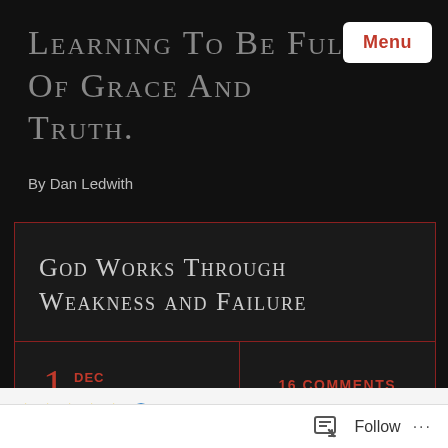Learning To Be Full Of Grace And Truth.
By Dan Ledwith
God Works Through Weakness and Failure
1 DEC 2016
16 COMMENTS
1 Vote
Follow ...